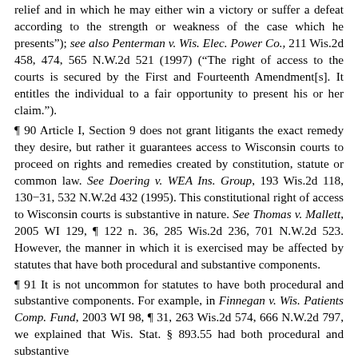relief and in which he may either win a victory or suffer a defeat according to the strength or weakness of the case which he presents"); see also Penterman v. Wis. Elec. Power Co., 211 Wis.2d 458, 474, 565 N.W.2d 521 (1997) (“The right of access to the courts is secured by the First and Fourteenth Amendment[s]. It entitles the individual to a fair opportunity to present his or her claim.”).
¶ 90 Article I, Section 9 does not grant litigants the exact remedy they desire, but rather it guarantees access to Wisconsin courts to proceed on rights and remedies created by constitution, statute or common law. See Doering v. WEA Ins. Group, 193 Wis.2d 118, 130–31, 532 N.W.2d 432 (1995). This constitutional right of access to Wisconsin courts is substantive in nature. See Thomas v. Mallett, 2005 WI 129, ¶ 122 n. 36, 285 Wis.2d 236, 701 N.W.2d 523. However, the manner in which it is exercised may be affected by statutes that have both procedural and substantive components.
¶ 91 It is not uncommon for statutes to have both procedural and substantive components. For example, in Finnegan v. Wis. Patients Comp. Fund, 2003 WI 98, ¶ 31, 263 Wis.2d 574, 666 N.W.2d 797, we explained that Wis. Stat. § 893.55 had both procedural and substantive